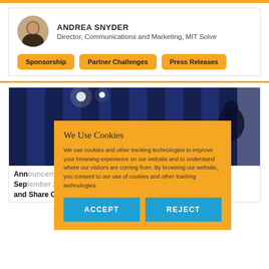ANDREA SNYDER
Director, Communications and Marketing, MIT Solve
Sponsorship
Partner Challenges
Press Releases
[Figure (photo): Blue curtain stage background with spotlight and person silhouette]
We Use Cookies
We use cookies and other tracking technologies to improve your browsing experience on our website and to understand where our visitors are coming from. By browsing our website, you consent to our use of cookies and other tracking technologies.
ACCEPT   REJECT
Ann... September 29 to Select 2020 Solve Teams and Share Over $2 Million in Prize Funding